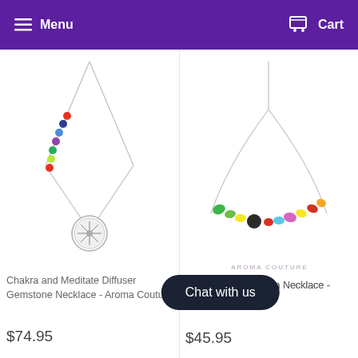Menu   Cart
[Figure (photo): Chakra and Meditate Diffuser Gemstone Necklace with silver chain, colorful beads and crystal pendant]
Chakra and Meditate Diffuser Gemstone Necklace - Aroma Couture
$74.95
[Figure (photo): Kid's Rainbow necklace with colorful stone beads on silver chain - Aroma Couture]
AROMA COUTURE
Kid's Rainbow Aroma Necklace - Aroma Couture
$45.95
Chat with us